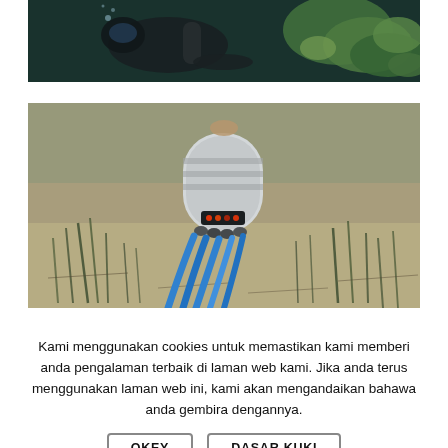[Figure (photo): Underwater photo showing a scuba diver near coral reef with green coral and marine life visible]
[Figure (photo): Underwater photo of a cylindrical scientific instrument with blue cables and glowing red LEDs resting on sandy seabed with seagrass]
Kami menggunakan cookies untuk memastikan kami memberi anda pengalaman terbaik di laman web kami. Jika anda terus menggunakan laman web ini, kami akan mengandaikan bahawa anda gembira dengannya.
OKEY
DASAR KUKI